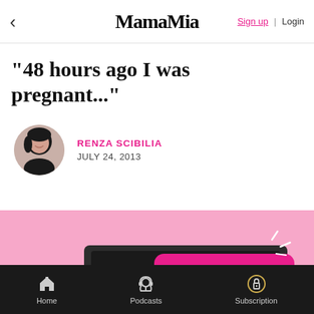< MamaMia  Sign up | Login
"48 hours ago I was pregnant..."
RENZA SCIBILIA
JULY 24, 2013
[Figure (illustration): A Mamamia Story branded image on a pink background showing a dark laptop/tablet with a hot pink speech bubble card reading 'A Mamamia Story' in white bold text, with decorative sparkle lines in upper right]
Home   Podcasts   Subscription